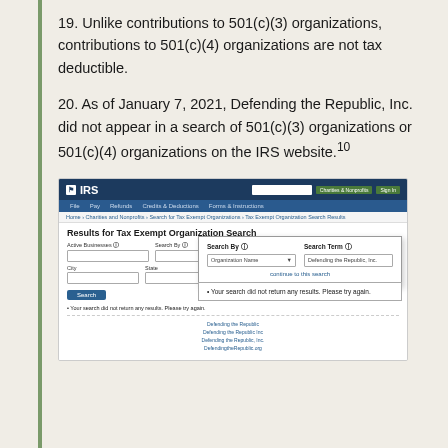19. Unlike contributions to 501(c)(3) organizations, contributions to 501(c)(4) organizations are not tax deductible.
20. As of January 7, 2021, Defending the Republic, Inc. did not appear in a search of 501(c)(3) organizations or 501(c)(4) organizations on the IRS website.10
[Figure (screenshot): Screenshot of IRS website 'Results for Tax Exempt Organization Search' page, with a popup showing Search By: Organization Name and Search Term: Defending the Republic, Inc., and a result message: 'Your search did not return any results. Please try again.']